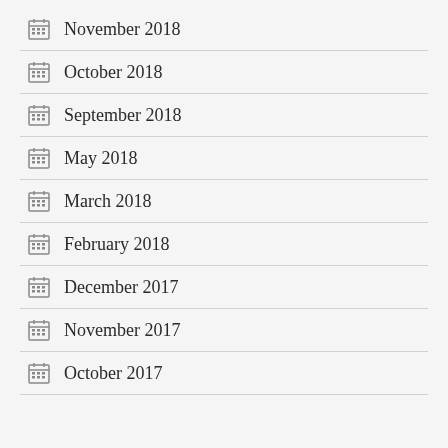November 2018
October 2018
September 2018
May 2018
March 2018
February 2018
December 2017
November 2017
October 2017